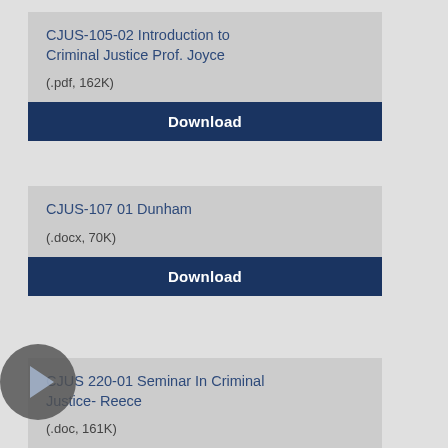CJUS-105-02 Introduction to Criminal Justice Prof. Joyce
(.pdf, 162K)
Download
CJUS-107 01 Dunham
(.docx, 70K)
Download
CJUS 220-01 Seminar In Criminal Justice- Reece
(.doc, 161K)
Download